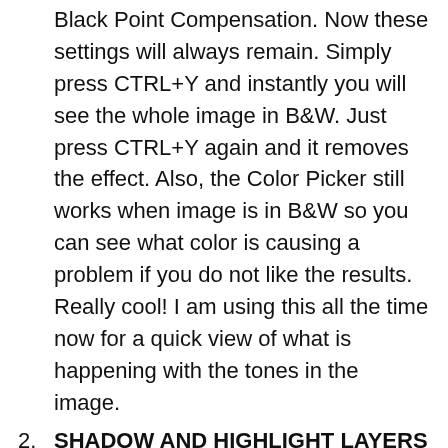Black Point Compensation. Now these settings will always remain. Simply press CTRL+Y and instantly you will see the whole image in B&W. Just press CTRL+Y again and it removes the effect. Also, the Color Picker still works when image is in B&W so you can see what color is causing a problem if you do not like the results. Really cool! I am using this all the time now for a quick view of what is happening with the tones in the image.
SHADOW AND HIGHLIGHT LAYERS (PS): Another Sam Peterson trick – this guy does have some really interesting techniques! For images with really neutral lighting, he creates a New Layer and sets it to Multiply blend mode and selects a grayish-blue tone (try #8e969e). Clip this layer to object layer for keeping shadows confined to the object only. Otherwise can use on the whole image. Use any brush, soft Airbrush